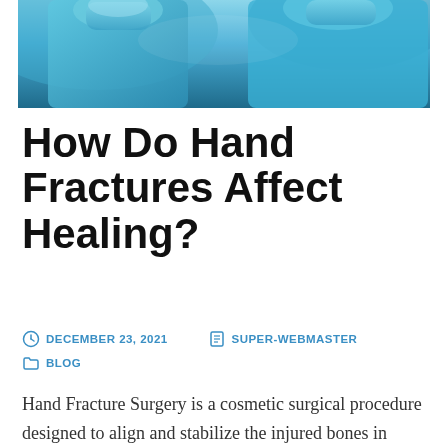[Figure (photo): Surgical team members in blue surgical gowns and masks, seen from slightly above]
How Do Hand Fractures Affect Healing?
DECEMBER 23, 2021   SUPER-WEBMASTER   BLOG
Hand Fracture Surgery is a cosmetic surgical procedure designed to align and stabilize the injured bones in hand with artificial implants like plates and screws, wires, or plates. This